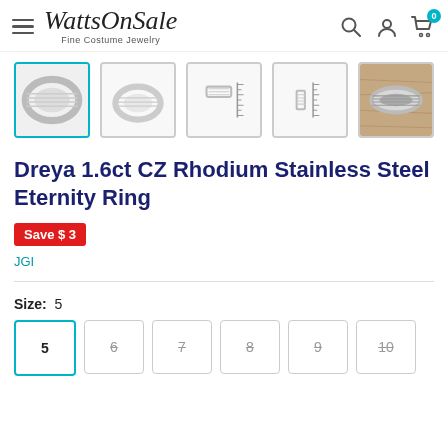WattsOnSale Fine Costume Jewelry
[Figure (photo): Product thumbnail images of a CZ Rhodium Stainless Steel Eternity Ring from multiple angles. First thumbnail is selected (active) showing ring from side, second shows ring from another angle, third shows measurement ruler view, fourth shows another ruler measurement view, fifth shows ring from above on wood surface.]
Dreya 1.6ct CZ Rhodium Stainless Steel Eternity Ring
Save $ 3
JGI
Size: 5
5
6
7
8
9
10